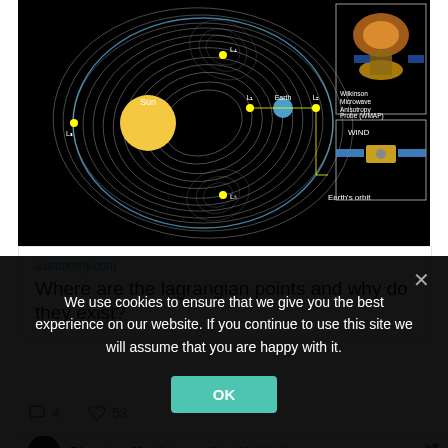[Figure (illustration): Diagram of Lagrangian points in the Sun-Earth system showing L1, L2, L3, L4, L5 positions, Earth's orbit, and inset images of the Wilkinson Microwave Anisotropy Probe (WMAP) and WIND spacecraft on a black background.]
astronomy.com
Where are the lagrangian points and why do they exist?
4
53
Planetary Me @plane · Sep 23, 2019
We use cookies to ensure that we give you the best experience on our website. If you continue to use this site we will assume that you are happy with it.
OK